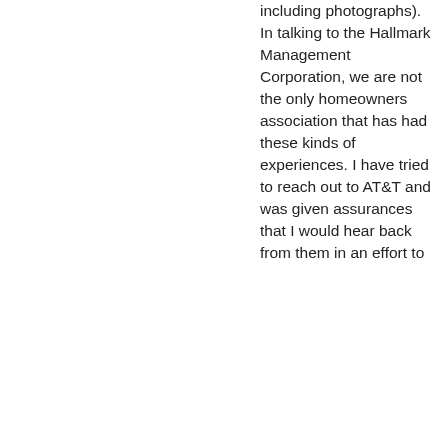including photographs). In talking to the Hallmark Management Corporation, we are not the only homeowners association that has had these kinds of experiences. I have tried to reach out to AT&T and was given assurances that I would hear back from them in an effort to